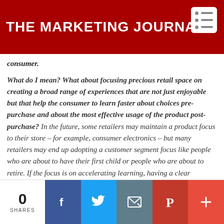THE MARKETING JOURNAL
consumer.
What do I mean? What about focusing precious retail space on creating a broad range of experiences that are not just enjoyable but that help the consumer to learn faster about choices pre-purchase and about the most effective usage of the product post-purchase? In the future, some retailers may maintain a product focus to their store – for example, consumer electronics – but many retailers may end up adopting a customer segment focus like people who are about to have their first child or people who are about to retire. If the focus is on accelerating learning, having a clear
0 SHARES [Facebook] [Twitter] [Email] [Pinterest] [+]